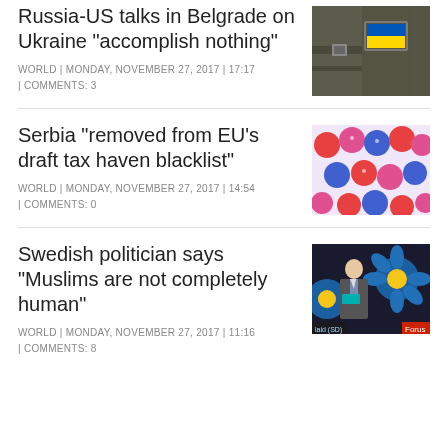Russia-US talks in Belgrade on Ukraine "accomplish nothing"
WORLD | MONDAY, NOVEMBER 27, 2017 | 17:17 | COMMENTS: 3
[Figure (photo): Military uniform with Ukrainian flag patch]
Serbia "removed from EU's draft tax haven blacklist"
WORLD | MONDAY, NOVEMBER 27, 2017 | 14:54 | COMMENTS: 0
[Figure (photo): Colorful balloons with faces, decorative image]
Swedish politician says "Muslims are not completely human"
WORLD | MONDAY, NOVEMBER 27, 2017 | 11:16 | COMMENTS: 8
[Figure (photo): Man speaking at podium with large blue flowers in background, SD party logo visible]